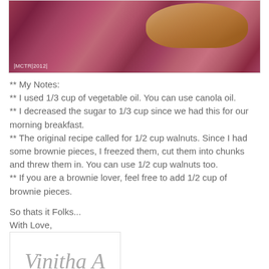[Figure (photo): Close-up photo of food (bread/baked good) on a colorful striped background with watermark |MCTR|2012|]
** My Notes:
** I used 1/3 cup of vegetable oil. You can use canola oil.
** I decreased the sugar to 1/3 cup since we had this for our morning breakfast.
** The original recipe called for 1/2 cup walnuts. Since I had some brownie pieces, I freezed them, cut them into chunks and threw them in. You can use 1/2 cup walnuts too.
** If you are a brownie lover, feel free to add 1/2 cup of brownie pieces.
So thats it Folks...
With Love,
[Figure (illustration): Handwritten cursive signature reading 'Vinitha A']
Signs off!!!